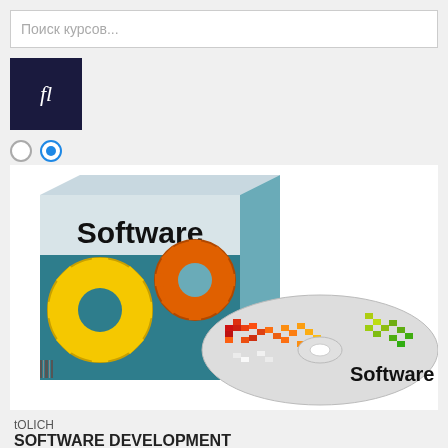Поиск курсов...
[Figure (logo): Dark navy square icon with italic white letters 'fl']
[Figure (screenshot): Radio button row: one empty circle, one filled blue circle]
[Figure (illustration): Software development product box and CD illustration. Box shows gears (yellow and orange) with 'Software' text on top. CD disc in front shows pixelated world map in red/orange/yellow/green colors with 'Software' label.]
tOLICH
SOFTWARE DEVELOPMENT